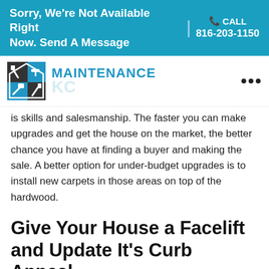Sorry, We're Not Available Right Now. Send A Message | CALL 816-203-1150
[Figure (logo): Maintenance KC logo with house/tools icon and blue text reading MAINTENANCE KC]
is skills and salesmanship. The faster you can make upgrades and get the house on the market, the better chance you have at finding a buyer and making the sale. A better option for under-budget upgrades is to install new carpets in those areas on top of the hardwood.
Give Your House a Facelift and Update It's Curb Appeal
When people talk about exterior updates, they